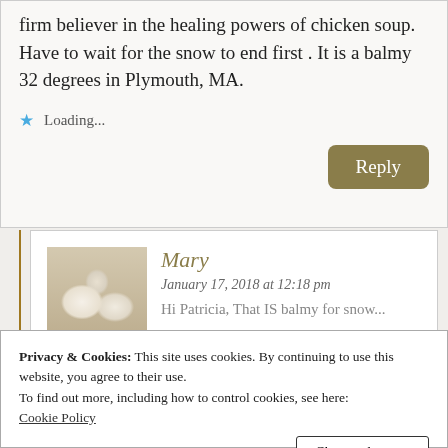firm believer in the healing powers of chicken soup. Have to wait for the snow to end first . It is a balmy 32 degrees in Plymouth, MA.
Loading...
Reply
Mary
January 17, 2018 at 12:18 pm
Hi Patricia, That IS balmy for snow...
Privacy & Cookies: This site uses cookies. By continuing to use this website, you agree to their use.
To find out more, including how to control cookies, see here:
Cookie Policy
Close and accept